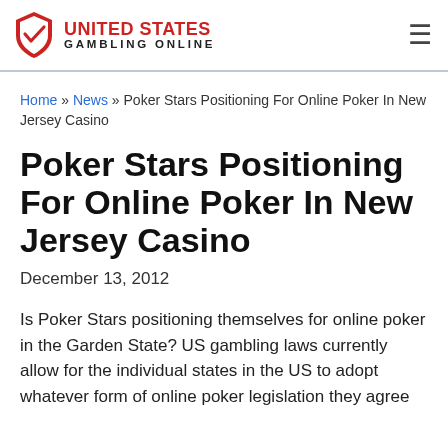UNITED STATES GAMBLING ONLINE
Home » News » Poker Stars Positioning For Online Poker In New Jersey Casino
Poker Stars Positioning For Online Poker In New Jersey Casino
December 13, 2012
Is Poker Stars positioning themselves for online poker in the Garden State? US gambling laws currently allow for the individual states in the US to adopt whatever form of online poker legislation they agree